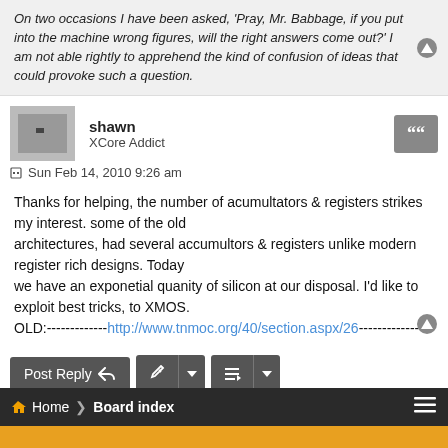On two occasions I have been asked, 'Pray, Mr. Babbage, if you put into the machine wrong figures, will the right answers come out?' I am not able rightly to apprehend the kind of confusion of ideas that could provoke such a question.
shawn
XCore Addict
Sun Feb 14, 2010 9:26 am
Thanks for helping, the number of acumultators & registers strikes my interest. some of the old architectures, had several accumultors & registers unlike modern register rich designs. Today we have an exponetial quanity of silicon at our disposal. I'd like to exploit best tricks, to XMOS.
OLD:-------------http://www.tnmoc.org/40/section.aspx/26-------------
7 posts • Page 1 of 1
Home > Board index